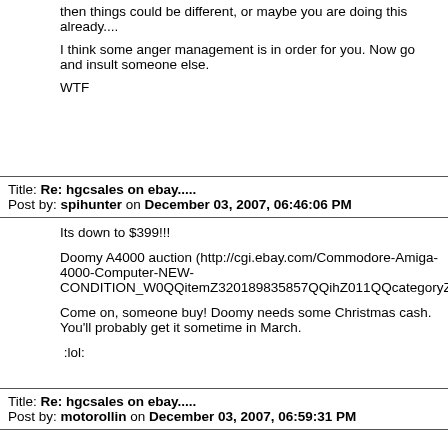then things could be different, or maybe you are doing this already....
I think some anger management is in order for you. Now go and insult someone else.
WTF
Title: Re: hgcsales on ebay.....
Post by: spihunter on December 03, 2007, 06:46:06 PM
Its down to $399!!!
Doomy A4000 auction (http://cgi.ebay.com/Commodore-Amiga-4000-Computer-NEW-CONDITION_W0QQitemZ320189835857QQihZ011QQcategoryZ4598Q
Come on, someone buy! Doomy needs some Christmas cash. You'll probably get it sometime in March.
:lol:
Title: Re: hgcsales on ebay.....
Post by: motorollin on December 03, 2007, 06:59:31 PM